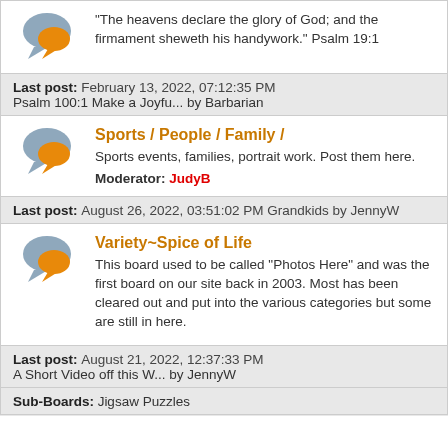"The heavens declare the glory of God; and the firmament sheweth his handywork." Psalm 19:1
Last post: February 13, 2022, 07:12:35 PM
Psalm 100:1 Make a Joyfu... by Barbarian
Sports / People / Family /
Sports events, families, portrait work.  Post them here.
Moderator: JudyB
Last post: August 26, 2022, 03:51:02 PM Grandkids by JennyW
Variety~Spice of Life
This board used to be called "Photos Here" and was the first board on our site back in 2003.  Most has been cleared out and put into the various categories but some are still in here.
Last post: August 21, 2022, 12:37:33 PM
A Short Video off this W... by JennyW
Sub-Boards: Jigsaw Puzzles